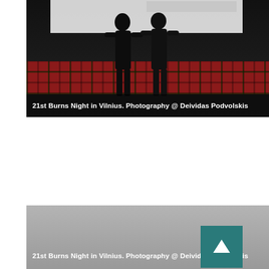[Figure (photo): Photo of two people standing in front of a white banner/backdrop, with a red tartan/plaid decorative band visible behind them. Dark silhouette figures against dark background with red plaid lower section.]
21st Burns Night in Vilnius. Photography @ Deividas Podvolskis
[Figure (photo): Second photo showing a similar scene - partially visible, gray/faded image with a gradient overlay from the Burns Night event in Vilnius.]
21st Burns Night in Vilnius. Photography @ Deividas Podvolskis